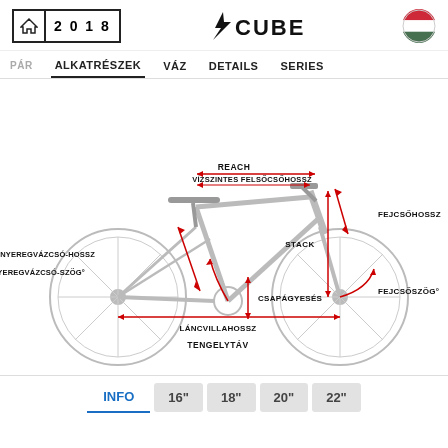2018 CUBE
PÁR  ALKATRÉSZEK  VÁZ  DETAILS  SERIES
[Figure (engineering-diagram): Bicycle geometry diagram with Hungarian labels: REACH, VÍZSZINTES FELSŐCSŐHOSSZ, FEJCSŐHOSSZ, STACK, NYEREGVÁZCSÓ-HOSSZ, NYEREGVÁZCSÓ-SZÖG, CSAPÁGYESÉS, FEJCSŐSZÖG, LÁNCVILLAHOSSZ, TENGELYTÁV. Red double-headed arrows indicate measurement dimensions on a side-view bike illustration.]
INFO  16"  18"  20"  22"